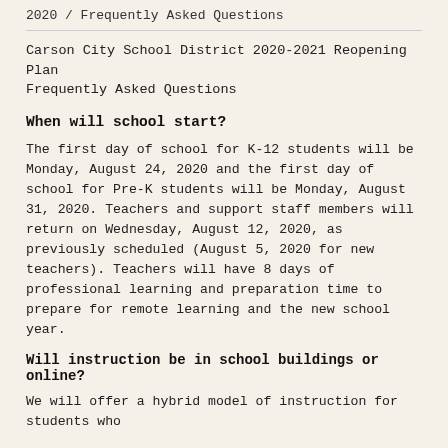2020 / Frequently Asked Questions
Carson City School District 2020-2021 Reopening Plan Frequently Asked Questions
When will school start?
The first day of school for K-12 students will be Monday, August 24, 2020 and the first day of school for Pre-K students will be Monday, August 31, 2020. Teachers and support staff members will return on Wednesday, August 12, 2020, as previously scheduled (August 5, 2020 for new teachers). Teachers will have 8 days of professional learning and preparation time to prepare for remote learning and the new school year.
Will instruction be in school buildings or online?
We will offer a hybrid model of instruction for students who...